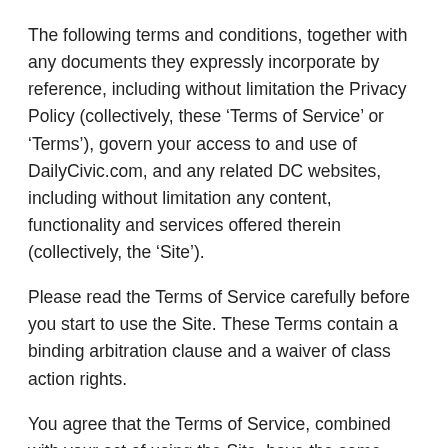The following terms and conditions, together with any documents they expressly incorporate by reference, including without limitation the Privacy Policy (collectively, these ‘Terms of Service’ or ‘Terms’), govern your access to and use of DailyCivic.com, and any related DC websites, including without limitation any content, functionality and services offered therein (collectively, the ‘Site’).
Please read the Terms of Service carefully before you start to use the Site. These Terms contain a binding arbitration clause and a waiver of class action rights.
You agree that the Terms of Service, combined with your act of using the Site, have the same legal force and effect as a written contract with your written signature and satisfy any laws that require a writing or signature. You further agree that you shall not challenge the validity, enforceability, or admissibility of the Terms of Service on the grounds that it was electronically transmitted or